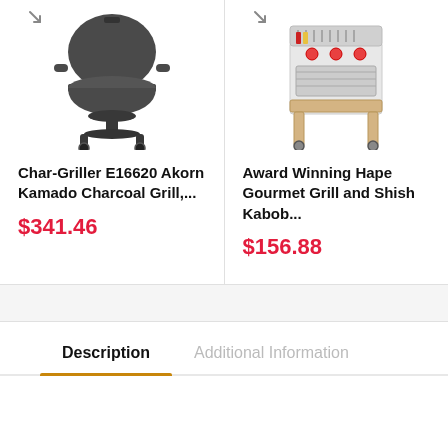[Figure (photo): Char-Griller E16620 Akorn Kamado Charcoal Grill product image, dark gray round kettle grill on stand with wheels]
Char-Griller E16620 Akorn Kamado Charcoal Grill,...
$341.46
[Figure (photo): Award Winning Hape Gourmet Grill and Shish Kabob toy grill product image, colorful children's wooden play grill]
Award Winning Hape Gourmet Grill and Shish Kabob...
$156.88
Description
Additional Information